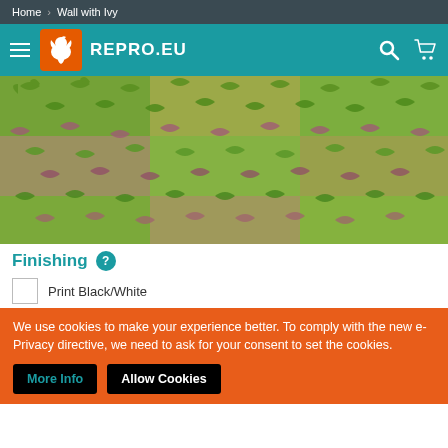Home > Wall with Ivy
[Figure (logo): REPRO.EU logo with white bird/griffin on orange background, teal header with hamburger menu, search icon and cart icon]
[Figure (photo): Dense wall covered with ivy leaves in green and reddish-purple colors]
Finishing ?
Print Black/White
We use cookies to make your experience better. To comply with the new e-Privacy directive, we need to ask for your consent to set the cookies.
More Info  Allow Cookies